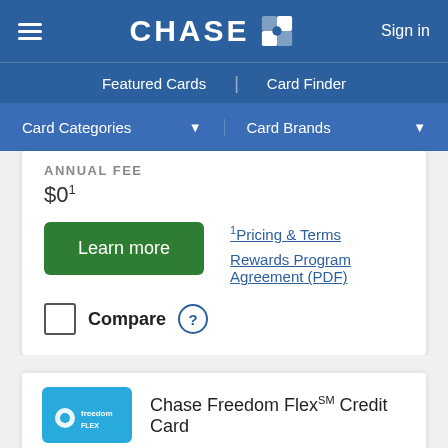CHASE — Sign in
Featured Cards | Card Finder
Card Categories ▾  Card Brands ▾
ANNUAL FEE
$0¹
Learn more
¹Pricing & Terms
Rewards Program Agreement (PDF)
Compare ?
Chase Freedom Flex℠ Credit Card